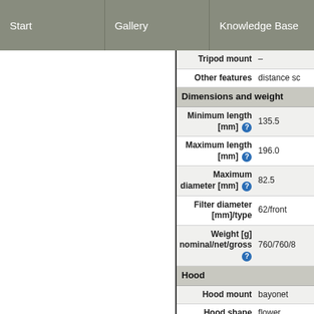Start | Gallery | Knowledge Base
| Property | Value |
| --- | --- |
| Tripod mount | – |
| Other features | distance sc… |
| Dimensions and weight |  |
| Minimum length [mm] | 135.5 |
| Maximum length [mm] | 196.0 |
| Maximum diameter [mm] | 82.5 |
| Filter diameter [mm]/type | 62/front |
| Weight [g] nominal/net/gross | 760/760/8… |
| Hood |  |
| Hood mount | bayonet |
| Hood shape | flower |
| Hood part number | ALC-SH103… |
| Movements |  |